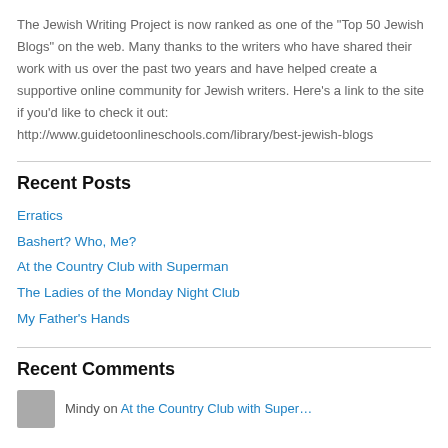The Jewish Writing Project is now ranked as one of the "Top 50 Jewish Blogs" on the web. Many thanks to the writers who have shared their work with us over the past two years and have helped create a supportive online community for Jewish writers. Here's a link to the site if you'd like to check it out: http://www.guidetoonlineschools.com/library/best-jewish-blogs
Recent Posts
Erratics
Bashert? Who, Me?
At the Country Club with Superman
The Ladies of the Monday Night Club
My Father's Hands
Recent Comments
Mindy on At the Country Club with Super…